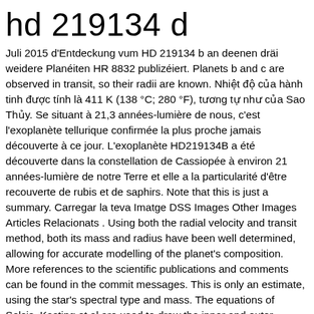hd 219134 d
Juli 2015 d'Entdeckung vum HD 219134 b an deenen dräi weidere Planéiten HR 8832 publizéiert. Planets b and c are observed in transit, so their radii are known. Nhiệt độ của hành tinh được tính là 411 K (138 °C; 280 °F), tương tự như của Sao Thủy. Se situant à 21,3 années-lumière de nous, c'est l'exoplanète tellurique confirmée la plus proche jamais découverte à ce jour. L'exoplanète HD219134B a été découverte dans la constellation de Cassiopée à environ 21 années-lumière de notre Terre et elle a la particularité d'être recouverte de rubis et de saphirs. Note that this is just a summary. Carregar la teva Imatge DSS Images Other Images Articles Relacionats . Using both the radial velocity and transit method, both its mass and radius have been well determined, allowing for accurate modelling of the planet's composition. More references to the scientific publications and comments can be found in the commit messages. This is only an estimate, using the star's spectral type and mass. The equations of Selsis, Kasting et al are used to draw the inner and outer boundaries. 2016. HD 219134 d là hành tinh thứ tư từ ngôi sao của nó. Unlike HD 219134 b and HD 219134 c it has not been observed by the Spitzer Space Telescope and thus its radius and density are unknown. Riche en calcium, magnésium et silicium et